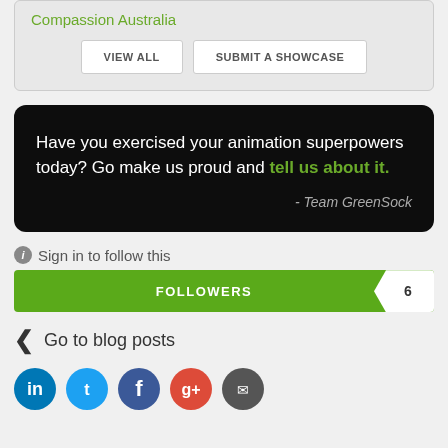Compassion Australia
VIEW ALL
SUBMIT A SHOWCASE
Have you exercised your animation superpowers today? Go make us proud and tell us about it.
- Team GreenSock
Sign in to follow this
FOLLOWERS 6
Go to blog posts
[Figure (other): Social media share icons: LinkedIn (blue), Twitter (light blue), Facebook (dark blue), Google+ (red), Email (dark gray)]